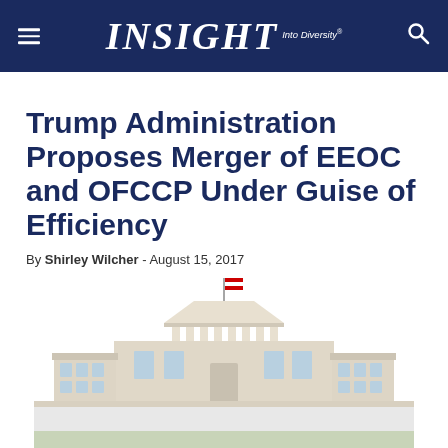INSIGHT Into Diversity
Trump Administration Proposes Merger of EEOC and OFCCP Under Guise of Efficiency
By Shirley Wilcher - August 15, 2017
[Figure (illustration): Illustration of the White House with an American flag on top, showing the iconic facade with columns, portico, and wings]